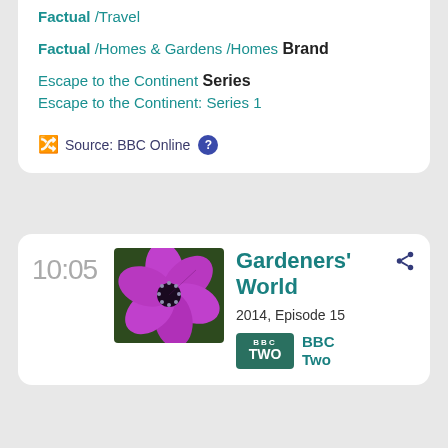Factual /Travel
Factual /Homes & Gardens /Homes
Brand
Escape to the Continent
Series
Escape to the Continent: Series 1
Source: BBC Online
10:05
[Figure (photo): Purple flower (geranium) close-up photo]
Gardeners' World
2014, Episode 15
BBC Two